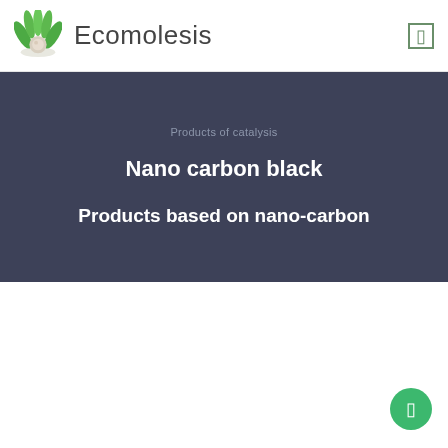Ecomolesis
Products of catalysis
Nano carbon black
Products based on nano-carbon